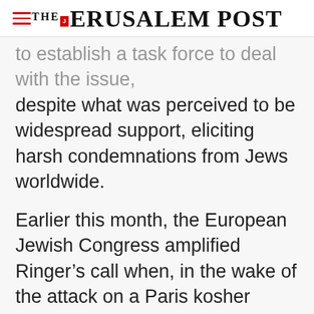THE JERUSALEM POST
to establish a task force to deal with the issue, despite what was perceived to be widespread support, eliciting harsh condemnations from Jews worldwide.
Earlier this month, the European Jewish Congress amplified Ringer’s call when, in the wake of the attack on a Paris kosher supermarket, it demanded of EU foreign policy chief Federica Mogherini to establish a continental body to
Advertisement